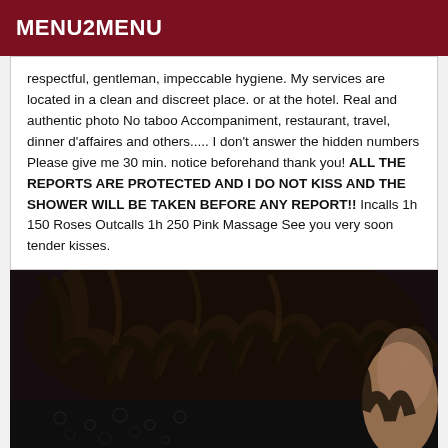MENU2MENU
respectful, gentleman, impeccable hygiene. My services are located in a clean and discreet place. or at the hotel. Real and authentic photo No taboo Accompaniment, restaurant, travel, dinner d'affaires and others..... I don't answer the hidden numbers Please give me 30 min. notice beforehand thank you! ALL THE REPORTS ARE PROTECTED AND I DO NOT KISS AND THE SHOWER WILL BE TAKEN BEFORE ANY REPORT!! Incalls 1h 150 Roses Outcalls 1h 250 Pink Massage See you very soon tender kisses.
[Figure (photo): Close-up photo of a person with dark hair wearing dark lace clothing, shot in low light]